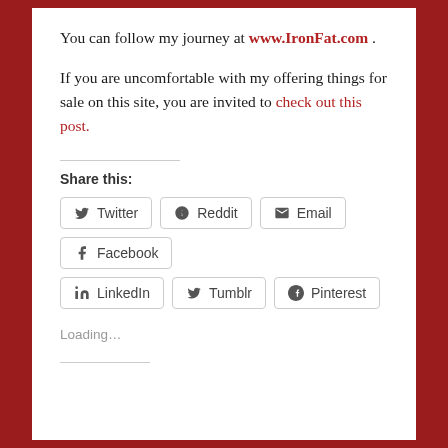You can follow my journey at www.IronFat.com .
If you are uncomfortable with my offering things for sale on this site, you are invited to check out this post.
Share this:
Twitter
Reddit
Email
Facebook
LinkedIn
Tumblr
Pinterest
Loading...